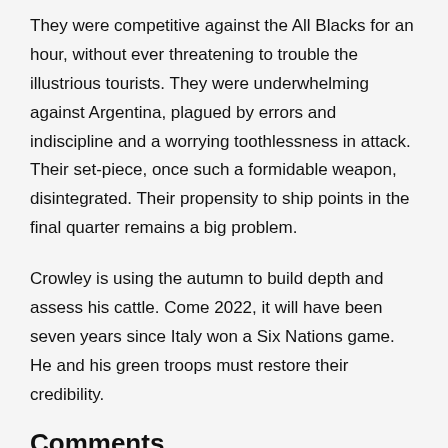They were competitive against the All Blacks for an hour, without ever threatening to trouble the illustrious tourists. They were underwhelming against Argentina, plagued by errors and indiscipline and a worrying toothlessness in attack. Their set-piece, once such a formidable weapon, disintegrated. Their propensity to ship points in the final quarter remains a big problem.
Crowley is using the autumn to build depth and assess his cattle. Come 2022, it will have been seven years since Italy won a Six Nations game. He and his green troops must restore their credibility.
Comments